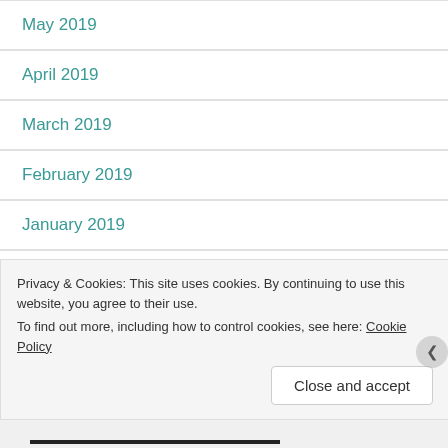May 2019
April 2019
March 2019
February 2019
January 2019
December 2018
November 2018
October 2018
Privacy & Cookies: This site uses cookies. By continuing to use this website, you agree to their use.
To find out more, including how to control cookies, see here: Cookie Policy
Close and accept